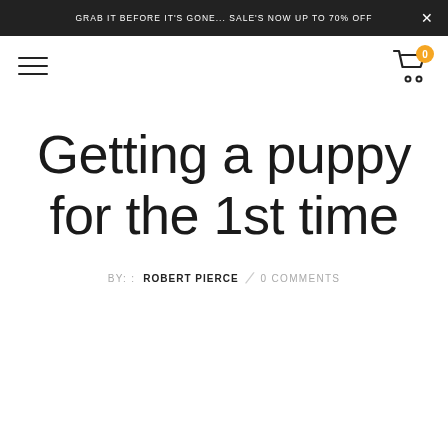GRAB IT BEFORE IT'S GONE... SALE'S NOW UP TO 70% OFF
Getting a puppy for the 1st time
BY: : ROBERT PIERCE   0 COMMENTS